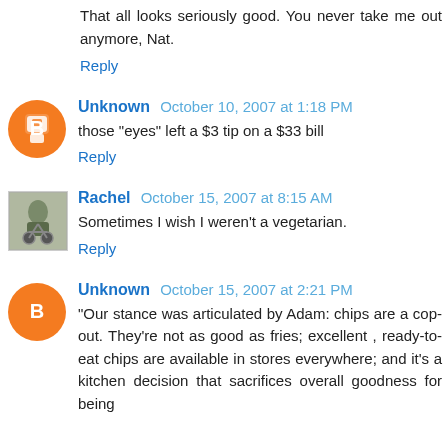That all looks seriously good. You never take me out anymore, Nat.
Reply
Unknown October 10, 2007 at 1:18 PM
those "eyes" left a $3 tip on a $33 bill
Reply
Rachel October 15, 2007 at 8:15 AM
Sometimes I wish I weren't a vegetarian.
Reply
Unknown October 15, 2007 at 2:21 PM
"Our stance was articulated by Adam: chips are a cop-out. They're not as good as fries; excellent , ready-to-eat chips are available in stores everywhere; and it's a kitchen decision that sacrifices overall goodness for being